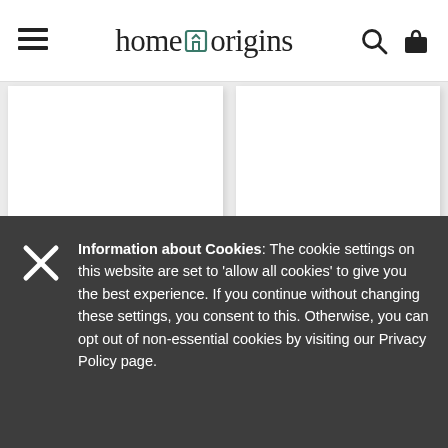home origins — navigation bar with hamburger menu, logo, search and bag icons
£495.00 per pair
Order now for free delivery
£495.00 per pair
Order now for free delivery
Information about Cookies: The cookie settings on this website are set to 'allow all cookies' to give you the best experience. If you continue without changing these settings, you consent to this. Otherwise, you can opt out of non-essential cookies by visiting our Privacy Policy page.